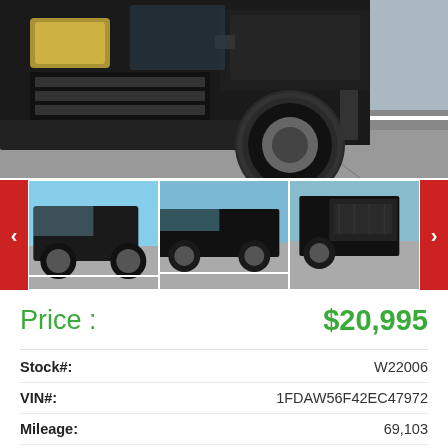[Figure (photo): Close-up front view of a black Ford F-series truck, showing the front grille, headlights, and front tire in a parking lot]
[Figure (photo): Thumbnail gallery strip with three images of a black truck (front 3/4 view, side view, rear 3/4 view) with red left and right navigation arrows]
Price : $20,995
| Field | Value |
| --- | --- |
| Stock#: | W22006 |
| VIN#: | 1FDAW56F42EC47972 |
| Mileage: | 69,103 |
| Engine: | 7.3L 8 cylinder Engine |